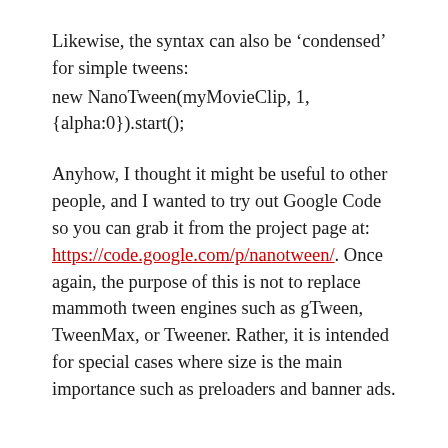Likewise, the syntax can also be ‘condensed’ for simple tweens:
new NanoTween(myMovieClip, 1, {alpha:0}).start();
Anyhow, I thought it might be useful to other people, and I wanted to try out Google Code so you can grab it from the project page at: https://code.google.com/p/nanotween/. Once again, the purpose of this is not to replace mammoth tween engines such as gTween, TweenMax, or Tweener. Rather, it is intended for special cases where size is the main importance such as preloaders and banner ads.